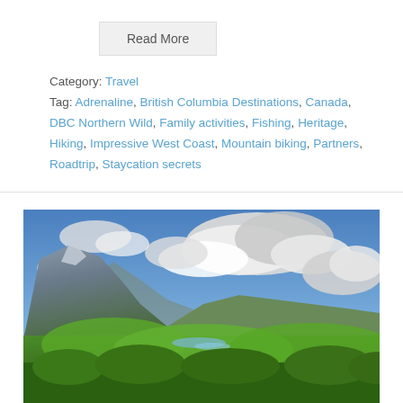Read More
Category: Travel
Tag: Adrenaline, British Columbia Destinations, Canada, DBC Northern Wild, Family activities, Fishing, Heritage, Hiking, Impressive West Coast, Mountain biking, Partners, Roadtrip, Staycation secrets
[Figure (photo): Panoramic landscape photograph showing a mountain peak on the left, lush green forested valley, a river or lake in the middle distance, and a dramatic blue sky with large white and grey clouds overhead.]